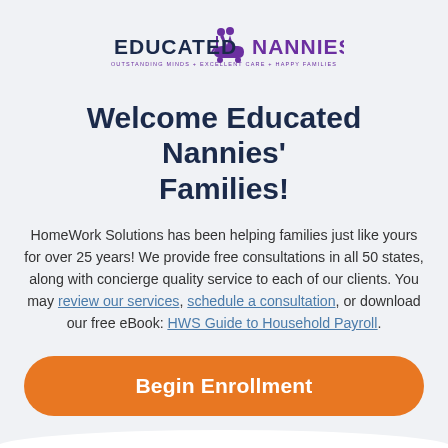[Figure (logo): Educated Nannies logo with purple text and silhouette of nanny with child, tagline: OUTSTANDING MINDS + EXCELLENT CARE + HAPPY FAMILIES]
Welcome Educated Nannies' Families!
HomeWork Solutions has been helping families just like yours for over 25 years! We provide free consultations in all 50 states, along with concierge quality service to each of our clients. You may review our services, schedule a consultation, or download our free eBook: HWS Guide to Household Payroll.
[Figure (other): Orange rounded button labeled 'Begin Enrollment']